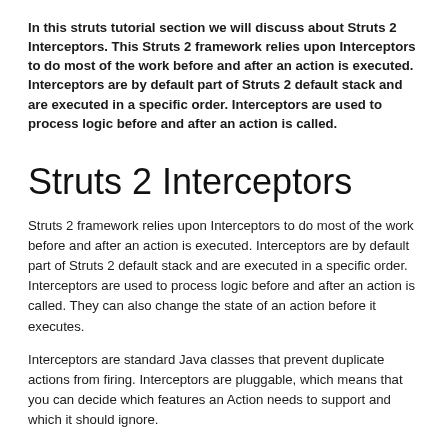In this struts tutorial section we will discuss about Struts 2 Interceptors. This Struts 2 framework relies upon Interceptors to do most of the work before and after an action is executed. Interceptors are by default part of Struts 2 default stack and are executed in a specific order. Interceptors are used to process logic before and after an action is called.
Struts 2 Interceptors
Struts 2 framework relies upon Interceptors to do most of the work before and after an action is executed. Interceptors are by default part of Struts 2 default stack and are executed in a specific order. Interceptors are used to process logic before and after an action is called. They can also change the state of an action before it executes.
Interceptors are standard Java classes that prevent duplicate actions from firing. Interceptors are pluggable, which means that you can decide which features an Action needs to support and which it should ignore.